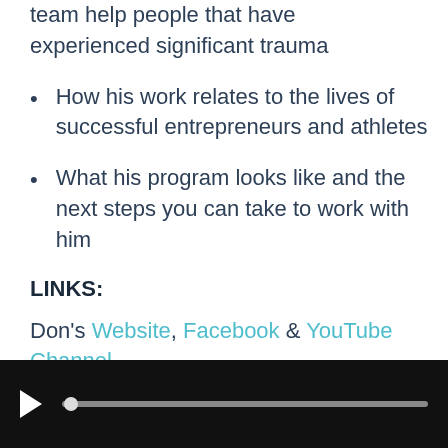team help people that have experienced significant trauma
How his work relates to the lives of successful entrepreneurs and athletes
What his program looks like and the next steps you can take to work with him
LINKS:
Don's Website, Facebook & YouTube Channel
[Figure (other): Video player bar with play button and progress track]